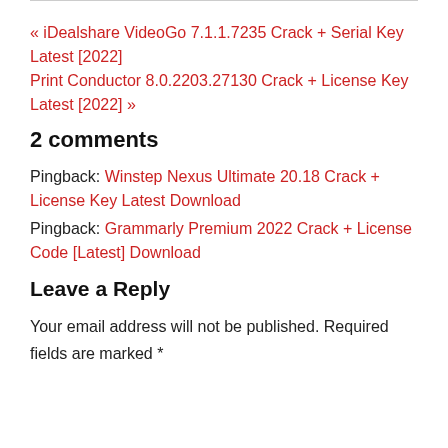« iDealshare VideoGo 7.1.1.7235 Crack + Serial Key Latest [2022]
Print Conductor 8.0.2203.27130 Crack + License Key Latest [2022] »
2 comments
Pingback: Winstep Nexus Ultimate 20.18 Crack + License Key Latest Download
Pingback: Grammarly Premium 2022 Crack + License Code [Latest] Download
Leave a Reply
Your email address will not be published. Required fields are marked *